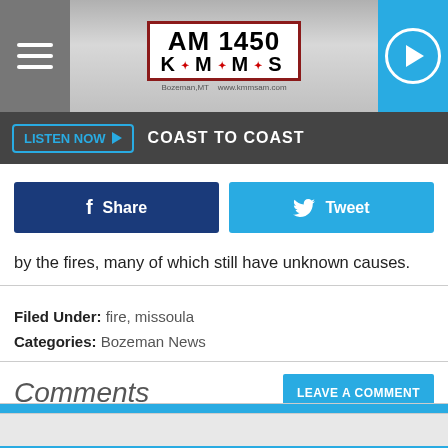AM 1450 K·M·M·S Bozeman, MT www.kmmsam.com
LISTEN NOW ▶  COAST TO COAST
[Figure (screenshot): Facebook Share button and Twitter Tweet button side by side]
by the fires, many of which still have unknown causes.
Filed Under: fire, missoula
Categories: Bozeman News
Comments
LEAVE A COMMENT
YOU MAY LIKE   SPONSORED LINKS